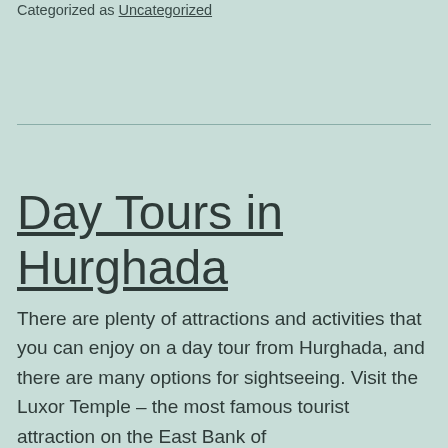Categorized as Uncategorized
Day Tours in Hurghada
There are plenty of attractions and activities that you can enjoy on a day tour from Hurghada, and there are many options for sightseeing. Visit the Luxor Temple – the most famous tourist attraction on the East Bank of